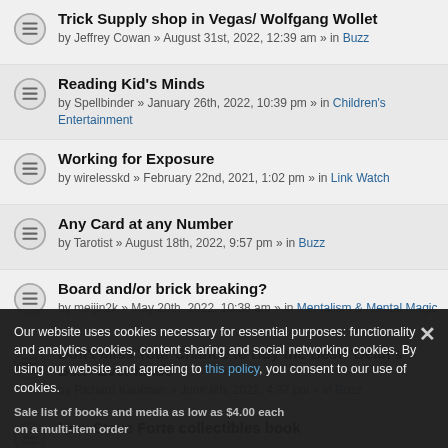Trick Supply shop in Vegas/ Wolfgang Wollet by Jeffrey Cowan » August 31st, 2022, 12:39 am » in Buzz
Reading Kid's Minds by Spellbinder » January 26th, 2022, 10:39 pm » in Children's Entertainment
Working for Exposure by wirelesskd » February 22nd, 2021, 1:02 pm » in Link Watch
Any Card at any Number by Tarotist » August 18th, 2022, 9:57 pm » in Buzz
Board and/or brick breaking? by meijin2k » May 20th, 2022, 10:38 am » in Mentalism & Mental Magic
Don't Miss Your Chance to Buy the Best "Dean's Box" Ever Made by Richard Kaufman » June 8th, 2022, 4:37 pm » in Buzz
New Steve Forte collectibles book
Our website uses cookies necessary for essential purposes: functionality and analytics cookies, content sharing and social networking cookies. By using our website and agreeing to this policy, you consent to our use of cookies.
Sale list of books and media as low as $4.00 each on a multi-item order